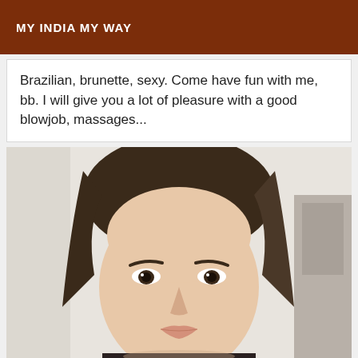MY INDIA MY WAY
Brazilian, brunette, sexy. Come have fun with me, bb. I will give you a lot of pleasure with a good blowjob, massages...
[Figure (photo): Close-up selfie portrait of a young woman with long dark brown hair, looking directly at the camera with a neutral expression, taken indoors against a white wall background.]